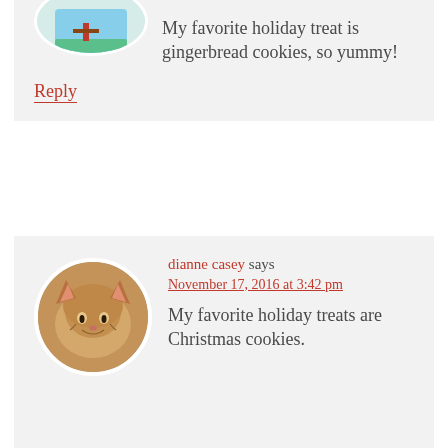My favorite holiday treat is gingerbread cookies, so yummy!
Reply
dianne casey says November 17, 2016 at 3:42 pm
[Figure (photo): Circular avatar photo of a cat (appears to be an orange/brown cat) used as user profile picture for dianne casey]
My favorite holiday treats are Christmas cookies.